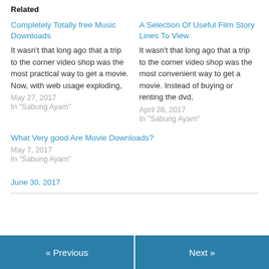Related
Completely Totally free Music Downloads
It wasn't that long ago that a trip to the corner video shop was the most practical way to get a movie. Now, with web usage exploding,
May 27, 2017
In "Sabung Ayam"
A Selection Of Useful Film Story Lines To View
It wasn't that long ago that a trip to the corner video shop was the most convenient way to get a movie. Instead of buying or renting the dvd,
April 28, 2017
In "Sabung Ayam"
What Very good Are Movie Downloads?
May 7, 2017
In "Sabung Ayam"
June 30, 2017
« Previous
Next »